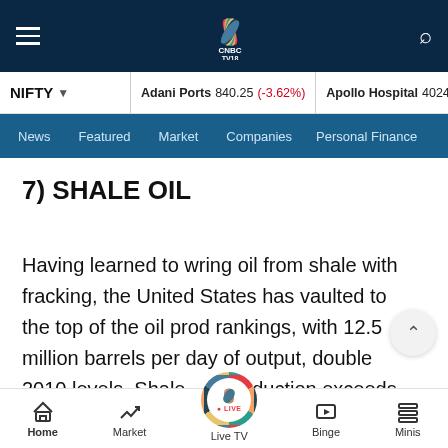[Figure (screenshot): CNBC TV18 website header with logo, hamburger menu and search icon on dark navy background]
NIFTY ▾  Adani Ports 840.25 (-3.62%)  Apollo Hospital 4024.90 (-2...)
News  Featured  Market  Companies  Personal Finance
7) SHALE OIL
Having learned to wring oil from shale with fracking, the United States has vaulted to the top of the oil prod rankings, with 12.5 million barrels per day of output, double 2010 levels. Shale production exceeds 9
Home  Market  Live TV  Binge  Minis